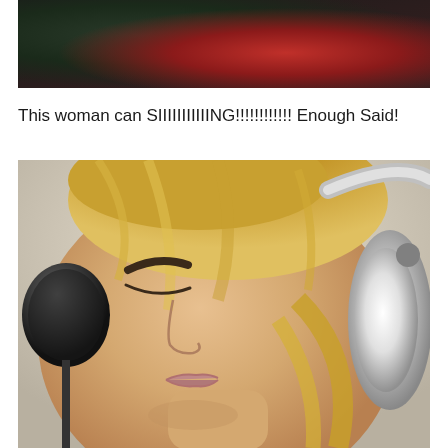[Figure (photo): Top portion of an image showing a dark scene with red and green tones in the background, appears to be a partial view of a video or photo]
This woman can SIIIIIIIIIIING!!!!!!!!!!!! Enough Said!
[Figure (photo): A woman with blonde hair and closed eyes singing into a microphone, wearing white over-ear headphones, photographed from a close side angle]